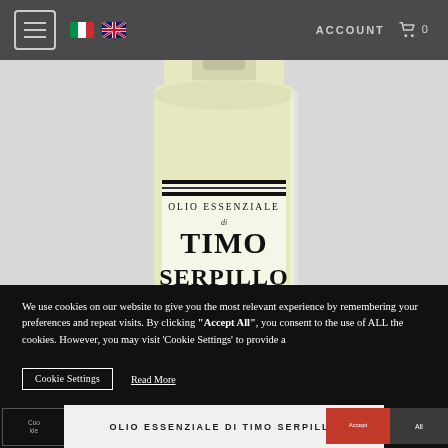Navigation bar with hamburger menu, Italian flag, UK flag, ACCOUNT, cart icon, 0
[Figure (photo): Close-up photo of a glass bottle with label reading 'OLIO ESSENZIALE di TIMO SERPILLO' on a light grey/white background]
We use cookies on our website to give you the most relevant experience by remembering your preferences and repeat visits. By clicking “Accept All”, you consent to the use of ALL the cookies. However, you may visit 'Cookie Settings' to provide a controlled consent.
Cookie Settings   Read More
OLIO ESSENZIALE DI TIMO SERPILLO